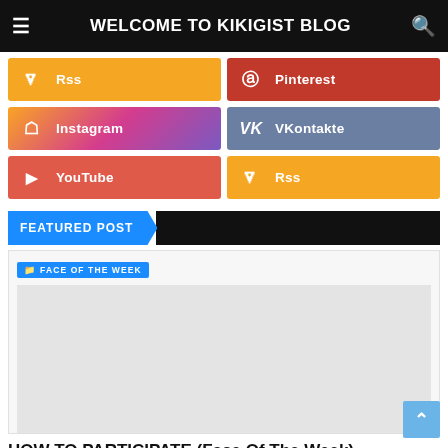WELCOME TO KIKIGIST BLOG
Rss
Pinterest
Instagram
VKontakte
YouTube
Rss
FEATURED POST
FACE OF THE WEEK
[Figure (photo): Light gray placeholder image area for a featured post]
HOW TO PARTICIPATE (Face Of The Week)